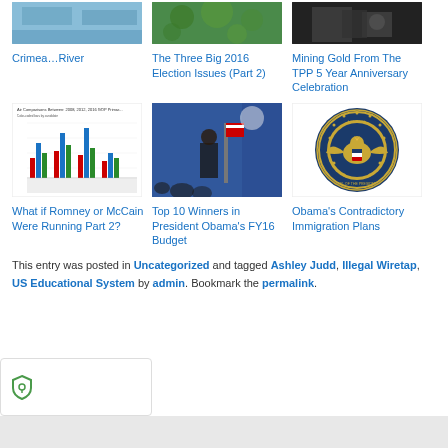[Figure (photo): Thumbnail image for Crimea River article - blue/water tones]
Crimea…River
[Figure (photo): Thumbnail image for Three Big 2016 Election Issues article - green foliage]
The Three Big 2016 Election Issues (Part 2)
[Figure (photo): Thumbnail image for Mining Gold From The TPP 5 Year Anniversary Celebration - dark/people]
Mining Gold From The TPP 5 Year Anniversary Celebration
[Figure (bar-chart): Bar chart titled Air Comparisons Between 2008, 2012, 2016 GOP Primaries with colored bars]
What if Romney or McCain Were Running Part 2?
[Figure (photo): Photo of person at podium with American flag and blue curtains, appears to be President Obama]
Top 10 Winners in President Obama's FY16 Budget
[Figure (illustration): Seal of the President of the United States - circular gold eagle seal on white background]
Obama's Contradictory Immigration Plans
This entry was posted in Uncategorized and tagged Ashley Judd, Illegal Wiretap, US Educational System by admin. Bookmark the permalink.